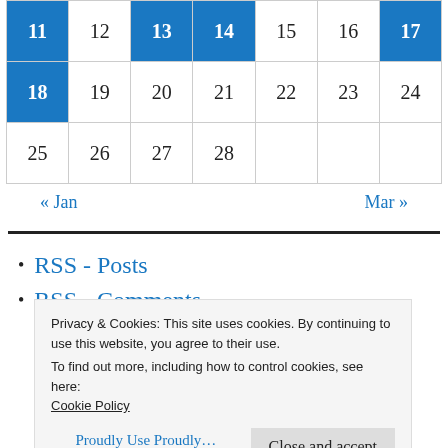| 11 | 12 | 13 | 14 | 15 | 16 | 17 |
| 18 | 19 | 20 | 21 | 22 | 23 | 24 |
| 25 | 26 | 27 | 28 |  |  |  |
« Jan    Mar »
RSS - Posts
RSS - Comments
Privacy & Cookies: This site uses cookies. By continuing to use this website, you agree to their use.
To find out more, including how to control cookies, see here:
Cookie Policy
Close and accept